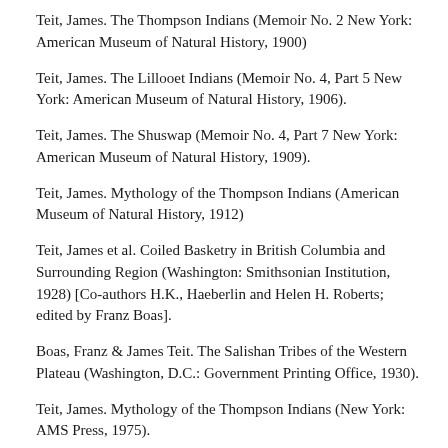Teit, James. The Thompson Indians (Memoir No. 2 New York: American Museum of Natural History, 1900)
Teit, James. The Lillooet Indians (Memoir No. 4, Part 5 New York: American Museum of Natural History, 1906).
Teit, James. The Shuswap (Memoir No. 4, Part 7 New York: American Museum of Natural History, 1909).
Teit, James. Mythology of the Thompson Indians (American Museum of Natural History, 1912)
Teit, James et al. Coiled Basketry in British Columbia and Surrounding Region (Washington: Smithsonian Institution, 1928) [Co-authors H.K., Haeberlin and Helen H. Roberts; edited by Franz Boas].
Boas, Franz & James Teit. The Salishan Tribes of the Western Plateau (Washington, D.C.: Government Printing Office, 1930).
Teit, James. Mythology of the Thompson Indians (New York: AMS Press, 1975).